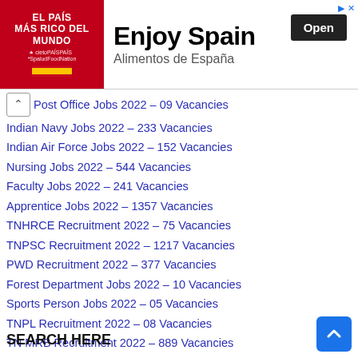[Figure (other): Advertisement banner for 'Enjoy Spain / Alimentos de España' with red panel on left showing 'El País Más Rico Del Mundo' text, and Open button on right]
Post Office Jobs 2022 - 09 Vacancies
Indian Navy Jobs 2022 - 233 Vacancies
Indian Air Force Jobs 2022 - 152 Vacancies
Nursing Jobs 2022 - 544 Vacancies
Faculty Jobs 2022 - 241 Vacancies
Apprentice Jobs 2022 - 1357 Vacancies
TNHRCE Recruitment 2022 - 75 Vacancies
TNPSC Recruitment 2022 - 1217 Vacancies
PWD Recruitment 2022 - 377 Vacancies
Forest Department Jobs 2022 - 10 Vacancies
Sports Person Jobs 2022 - 05 Vacancies
TNPL Recruitment 2022 - 08 Vacancies
TN MRB Recruitment 2022 - 889 Vacancies
NLC Recruitment 2022 - 955 Vacancies
Indian Army Jobs 2022 - 475 Vacancies
SEARCH HERE